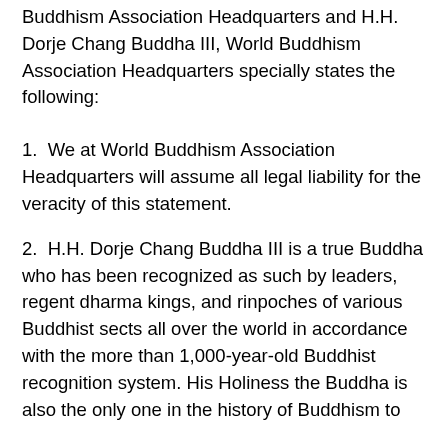Buddhism Association Headquarters and H.H. Dorje Chang Buddha III, World Buddhism Association Headquarters specially states the following:
1.  We at World Buddhism Association Headquarters will assume all legal liability for the veracity of this statement.
2.  H.H. Dorje Chang Buddha III is a true Buddha who has been recognized as such by leaders, regent dharma kings, and rinpoches of various Buddhist sects all over the world in accordance with the more than 1,000-year-old Buddhist recognition system. His Holiness the Buddha is also the only one in the history of Buddhism to